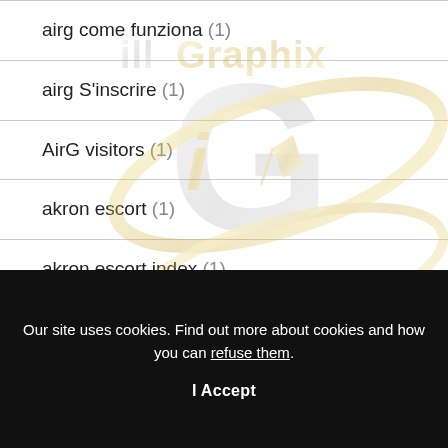airg come funziona (1)
airg S'inscrire (1)
AirG visitors (1)
akron escort (1)
akron escort index (1)
akron live escort reviews (1)
[Figure (logo): illGraphix logo — stylized silver and gold 'iG' monogram with pen nib, orbital ring, and 'illGraphix' text in metallic gradient, shown as watermark overlay]
Our site uses cookies. Find out more about cookies and how you can refuse them.
I Accept